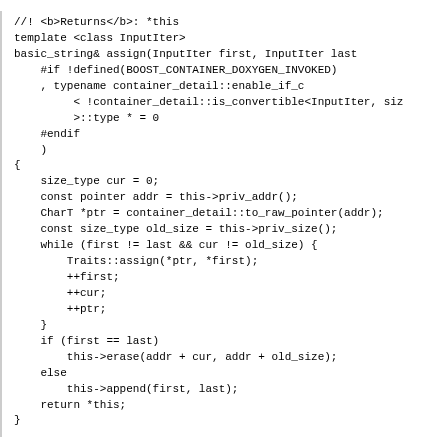[Figure (screenshot): Source code listing showing C++ basic_string member function implementations including assign() with InputIter template and insert() function with comments in Doxygen style]